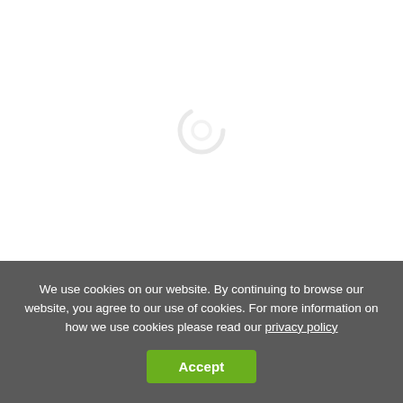[Figure (other): White background area with a faint circular loading spinner icon in the center]
We use cookies on our website. By continuing to browse our website, you agree to our use of cookies. For more information on how we use cookies please read our privacy policy
Accept